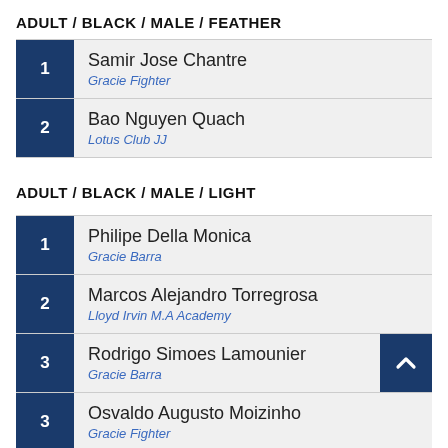ADULT / BLACK / MALE / FEATHER
1 – Samir Jose Chantre, Gracie Fighter
2 – Bao Nguyen Quach, Lotus Club JJ
ADULT / BLACK / MALE / LIGHT
1 – Philipe Della Monica, Gracie Barra
2 – Marcos Alejandro Torregrosa, Lloyd Irvin M.A Academy
3 – Rodrigo Simoes Lamounier, Gracie Barra
3 – Osvaldo Augusto Moizinho, Gracie Fighter